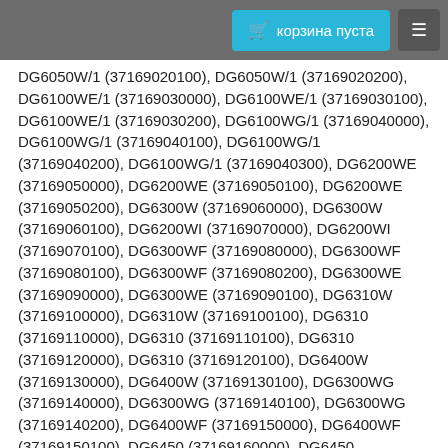корзина пуста
DG6050W/1 (37169020100), DG6050W/1 (37169020200), DG6100WE/1 (37169030000), DG6100WE/1 (37169030100), DG6100WE/1 (37169030200), DG6100WG/1 (37169040000), DG6100WG/1 (37169040100), DG6100WG/1 (37169040200), DG6100WG/1 (37169040300), DG6200WE (37169050000), DG6200WE (37169050100), DG6200WE (37169050200), DG6300W (37169060000), DG6300W (37169060100), DG6200WI (37169070000), DG6200WI (37169070100), DG6300WF (37169080000), DG6300WF (37169080100), DG6300WF (37169080200), DG6300WE (37169090000), DG6300WE (37169090100), DG6310W (37169100000), DG6310W (37169100100), DG6310 (37169110000), DG6310 (37169110100), DG6310 (37169120000), DG6310 (37169120100), DG6400W (37169130000), DG6400W (37169130100), DG6300WG (37169140000), DG6300WG (37169140100), DG6300WG (37169140200), DG6400WF (37169150000), DG6400WF (37169150100), DG6450 (37169160000), DG6450 (37169160100), DG6450 (37169170000), DG6450 (37169170100), DG6450 (37169180000), DG6450 (37169180100), DV61 (37170220000), DV61 (37170220100), DV61 (37170220200), DV61